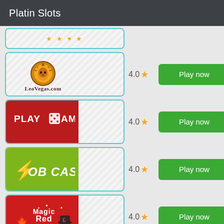Platin Slots
[Figure (screenshot): Partial casino card showing star ratings at bottom, cut off at top]
[Figure (logo): LeoVegas.com casino logo with lion head icon]
4.0 ★
Play now
[Figure (logo): PlayAmo casino logo on red background]
4.0 ★
Play now
[Figure (logo): Bob Casino logo on yellow-green background]
4.0 ★
Play now
[Figure (logo): Magic Red Casino logo on red background with maple leaf]
4.0 ★
Play now
[Figure (screenshot): Partial casino card at bottom, dark background, partially cut off]